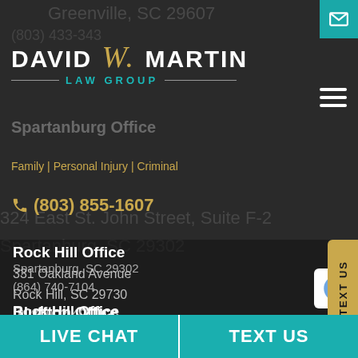[Figure (logo): David W. Martin Law Group logo with teal 'LAW GROUP' text and gold script initial]
Greenville, SC 29607
(803) 855-1607
Family | Personal Injury | Criminal
(803) 855-1607
Spartanburg Office
324 East St. John Street, Suite F-2
Spartanburg, SC 29302
(864) 740-7104
Rock Hill Office
331 Oakland Avenue
Rock Hill, SC 29730
(803) 902-4010
Bluffton Office
110 Trader's Cross, 1st Floor
Bluffton, SC 29909
LIVE CHAT
TEXT US